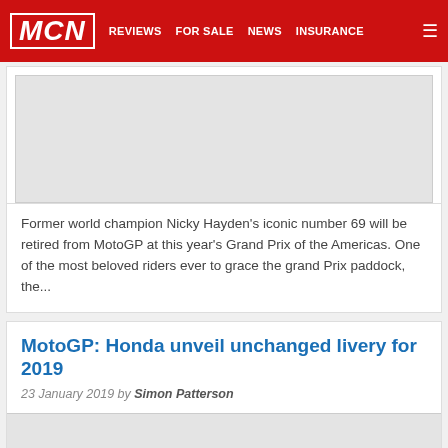MCN | REVIEWS | FOR SALE | NEWS | INSURANCE
[Figure (photo): Image placeholder for a MotoGP article, light grey rectangle]
Former world champion Nicky Hayden's iconic number 69 will be retired from MotoGP at this year's Grand Prix of the Americas. One of the most beloved riders ever to grace the grand Prix paddock, the...
MotoGP: Honda unveil unchanged livery for 2019
23 January 2019 by Simon Patterson
[Figure (photo): Image placeholder for Honda MotoGP livery article, light grey rectangle]